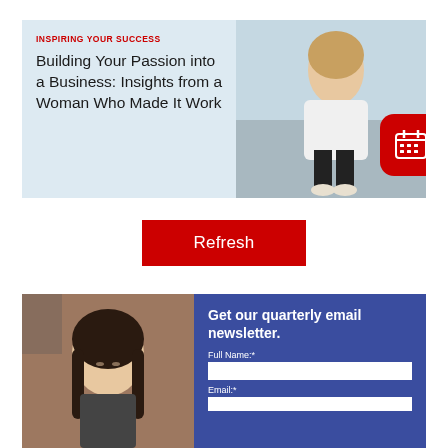INSPIRING YOUR SUCCESS
Building Your Passion into a Business: Insights from a Woman Who Made It Work
[Figure (photo): Woman in white jacket sitting outdoors smiling]
[Figure (infographic): Red rounded rectangle badge with calendar icon]
Refresh
[Figure (photo): Woman with long dark hair looking down, brick wall background]
Get our quarterly email newsletter.
Full Name:*
Email:*